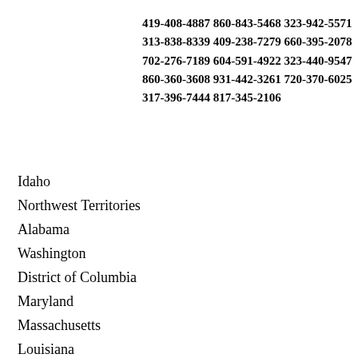419-408-4887 860-843-5468 323-942-5571
313-838-8339 409-238-7279 660-395-2078
702-276-7189 604-591-4922 323-440-9547
860-360-3608 931-442-3261 720-370-6025
317-396-7444 817-345-2106
Idaho
Northwest Territories
Alabama
Washington
District of Columbia
Maryland
Massachusetts
Louisiana